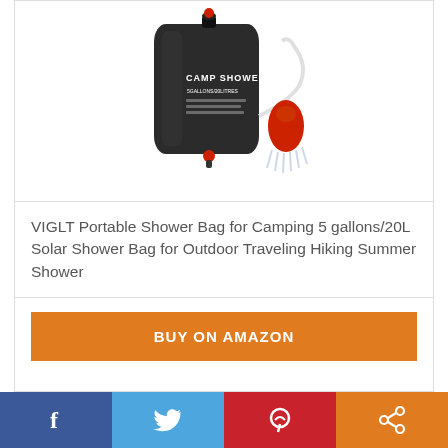[Figure (photo): Product photo of VIGLT Camp Shower bag – a dark grey/black portable solar shower bag with hose and red shower head, labeled 'CAMP SHOWER 5GALLONS/20LITRES']
VIGLT Portable Shower Bag for Camping 5 gallons/20L Solar Shower Bag for Outdoor Traveling Hiking Summer Shower
BUY ON AMAZON
[Figure (infographic): Social media share bar with four buttons: Facebook (blue), Twitter (light blue), Pinterest (red), Share (orange)]